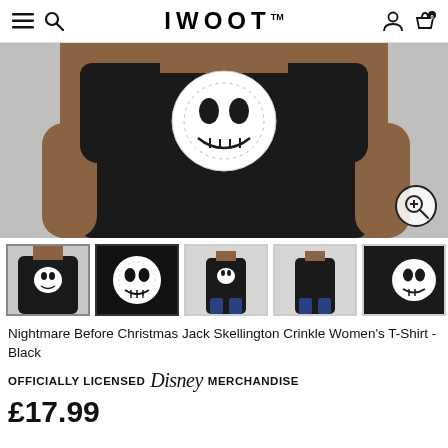IWOOT
[Figure (photo): Close-up of a woman wearing a black t-shirt with a Jack Skellington face graphic. A zoom button is visible in the bottom right corner.]
[Figure (photo): Thumbnail 1: Woman wearing black Jack Skellington t-shirt, front view.]
[Figure (photo): Thumbnail 2: Black background with white Jack Skellington skull face, selected/active.]
[Figure (photo): Thumbnail 3: Full body front view of woman in black t-shirt.]
[Figure (photo): Thumbnail 4: Full body back view of woman in black t-shirt.]
[Figure (photo): Thumbnail 5: Partial view of black t-shirt with skull graphic.]
Nightmare Before Christmas Jack Skellington Crinkle Women's T-Shirt - Black
OFFICIALLY LICENSED Disney MERCHANDISE
£17.99